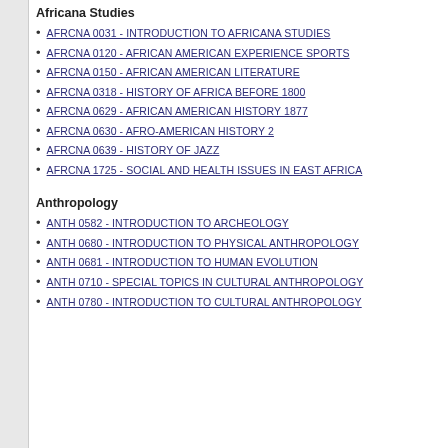Africana Studies
AFRCNA 0031 - INTRODUCTION TO AFRICANA STUDIES
AFRCNA 0120 - AFRICAN AMERICAN EXPERIENCE SPORTS
AFRCNA 0150 - AFRICAN AMERICAN LITERATURE
AFRCNA 0318 - HISTORY OF AFRICA BEFORE 1800
AFRCNA 0629 - AFRICAN AMERICAN HISTORY 1877
AFRCNA 0630 - AFRO-AMERICAN HISTORY 2
AFRCNA 0639 - HISTORY OF JAZZ
AFRCNA 1725 - SOCIAL AND HEALTH ISSUES IN EAST AFRICA
Anthropology
ANTH 0582 - INTRODUCTION TO ARCHEOLOGY
ANTH 0680 - INTRODUCTION TO PHYSICAL ANTHROPOLOGY
ANTH 0681 - INTRODUCTION TO HUMAN EVOLUTION
ANTH 0710 - SPECIAL TOPICS IN CULTURAL ANTHROPOLOGY
ANTH 0780 - INTRODUCTION TO CULTURAL ANTHROPOLOGY